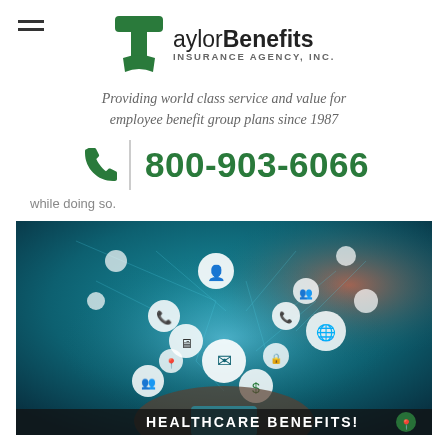[Figure (logo): Taylor Benefits Insurance Agency, Inc. logo with green T icon and hamburger menu]
Providing world class service and value for employee benefit group plans since 1987
800-903-6066
while doing so.
[Figure (photo): Person holding a tablet with floating digital icons representing healthcare benefits technology. Text overlay reads HEALTHCARE BENEFITS!]